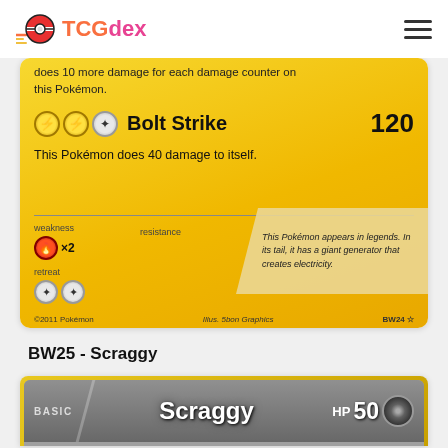TCGdex
[Figure (photo): Bottom portion of a Pokémon TCG card (Zekrom, BW24) showing Bolt Strike attack (120 damage), weakness ×2, retreat cost, flavor text, and card footer. Yellow/gold card background.]
BW25 - Scraggy
[Figure (photo): Top portion of a Pokémon TCG card (Scraggy, BW25) showing BASIC label, Scraggy name, HP 50, Darkness energy type, and partial card artwork of Scraggy character.]